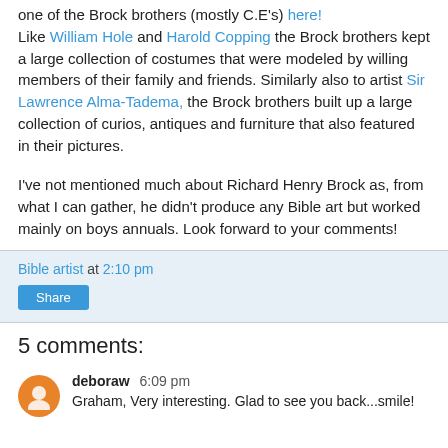one of the Brock brothers (mostly C.E's) here! Like William Hole and Harold Copping the Brock brothers kept a large collection of costumes that were modeled by willing members of their family and friends. Similarly also to artist Sir Lawrence Alma-Tadema, the Brock brothers built up a large collection of curios, antiques and furniture that also featured in their pictures.
I've not mentioned much about Richard Henry Brock as, from what I can gather, he didn't produce any Bible art but worked mainly on boys annuals. Look forward to your comments!
Bible artist at 2:10 pm
Share
5 comments:
deboraw 6:09 pm
Graham, Very interesting. Glad to see you back...smile!